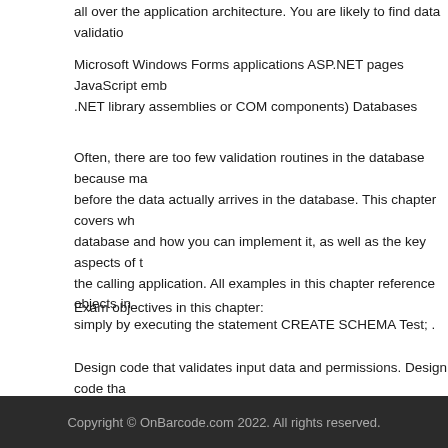all over the application architecture. You are likely to find data validatio
Microsoft Windows Forms applications ASP.NET pages JavaScript emb .NET library assemblies or COM components) Databases
Often, there are too few validation routines in the database because m before the data actually arrives in the database. This chapter covers w database and how you can implement it, as well as the key aspects of the calling application. All examples in this chapter reference objects in simply by executing the statement CREATE SCHEMA Test; .
Exam objectives in this chapter:
Design code that validates input data and permissions. Design code th messages to communicate application events.
Copyright © OnBarcode.com 2022. All rights reserved.